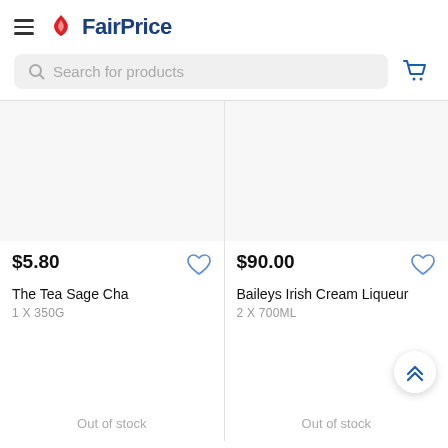FairPrice
Search for products
$5.80
The Tea Sage Cha
1 X 350G
Out of stock
$90.00
Baileys Irish Cream Liqueur
2 X 700ML
Out of stock